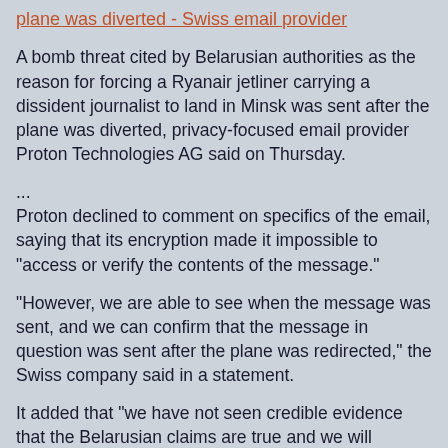plane was diverted - Swiss email provider
A bomb threat cited by Belarusian authorities as the reason for forcing a Ryanair jetliner carrying a dissident journalist to land in Minsk was sent after the plane was diverted, privacy-focused email provider Proton Technologies AG said on Thursday.
...
Proton declined to comment on specifics of the email, saying that its encryption made it impossible to "access or verify the contents of the message."
"However, we are able to see when the message was sent, and we can confirm that the message in question was sent after the plane was redirected," the Swiss company said in a statement.
It added that "we have not seen credible evidence that the Belarusian claims are true and we will support European authorities in their investigations upon receiving a legal request."
Protonmail was only asked about the second email which had been distributed by the Dossier Center. It